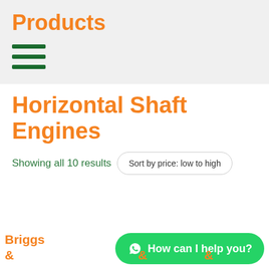Products
[Figure (other): Hamburger menu icon with three dark green horizontal lines]
Horizontal Shaft Engines
Showing all 10 results
Sort by price: low to high
Briggs &
Briggs and
&
&
[Figure (other): WhatsApp chat button with green background reading 'How can I help you?']